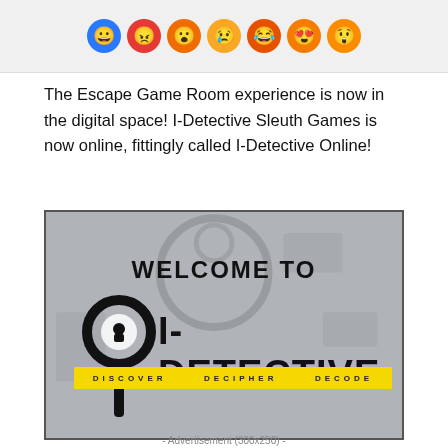[Figure (illustration): Top strip showing a row of colorful emoji/reaction circles (blue, red, orange, yellow, orange variants) on a light grey background]
The Escape Game Room experience is now in the digital space! I-Detective Sleuth Games is now online, fittingly called I-Detective Online!
[Figure (screenshot): I-Detective welcome screen image with a detective magnifying glass logo, 'WELCOME TO' text above, 'I-DETECTIVE' large bold text below, and yellow caution tape reading 'DISCOVER DECIPHER DECODE', on a grey faded background with investigative tools]
- Advertisement (300x250) -